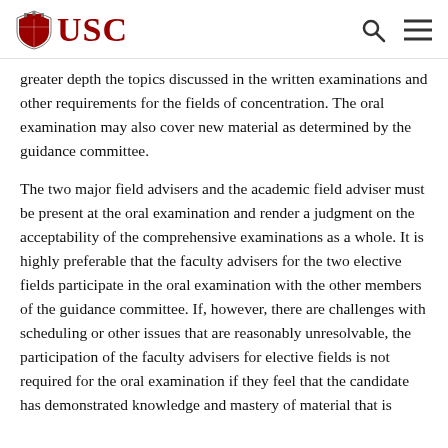USC
greater depth the topics discussed in the written examinations and other requirements for the fields of concentration. The oral examination may also cover new material as determined by the guidance committee.
The two major field advisers and the academic field adviser must be present at the oral examination and render a judgment on the acceptability of the comprehensive examinations as a whole. It is highly preferable that the faculty advisers for the two elective fields participate in the oral examination with the other members of the guidance committee. If, however, there are challenges with scheduling or other issues that are reasonably unresolvable, the participation of the faculty advisers for elective fields is not required for the oral examination if they feel that the candidate has demonstrated knowledge and mastery of material that is